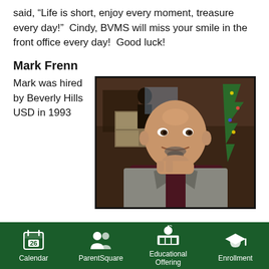said, “Life is short, enjoy every moment, treasure every day!”  Cindy, BVMS will miss your smile in the front office every day!  Good luck!
Mark Frenn
Mark was hired by Beverly Hills USD in 1993
[Figure (photo): Photo of Mark Frenn, a bald man with a goatee, smiling and resting his chin on his hand, wearing a grey blazer, photographed indoors with a Christmas tree visible in background.]
Calendar  ParentSquare  Educational Offering  Enrollment